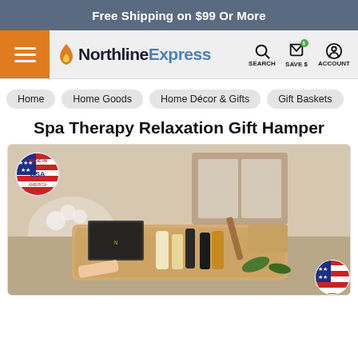Free Shipping on $99 Or More
[Figure (logo): NorthlineExpress logo with flame icon, hamburger menu, search, save $, and account icons]
Home
Home Goods
Home Décor & Gifts
Gift Baskets
Spa Therapy Relaxation Gift Hamper
[Figure (photo): Spa therapy relaxation gift hamper product photo with Made in USA badge, showing various spa products in a basket including lotions, brushes, and bath items on a bathroom counter background]